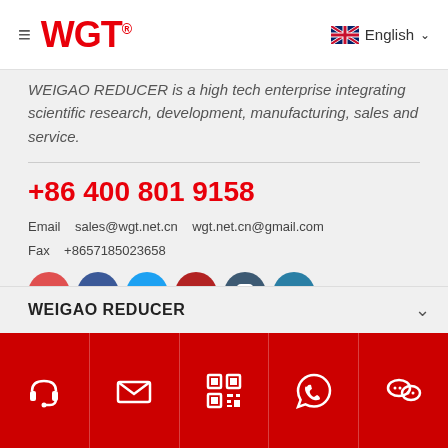WGT® English
WEIGAO REDUCER is a high tech enterprise integrating scientific research, development, manufacturing, sales and service.
+86 400 801 9158
Email   sales@wgt.net.cn   wgt.net.cn@gmail.com
Fax   +8657185023658
[Figure (illustration): Two rows of social media icons: VK (red), Facebook (dark blue), Twitter (blue), YouTube (red), Instagram (dark blue), LinkedIn (teal), WhatsApp (green), Email (blue), Skype (blue), WeChat (green), QQ (dark blue), unknown (light blue)]
WEIGAO REDUCER
[Figure (illustration): Red bottom navigation bar with 5 icons: headset, email/envelope, QR code, WhatsApp, WeChat]